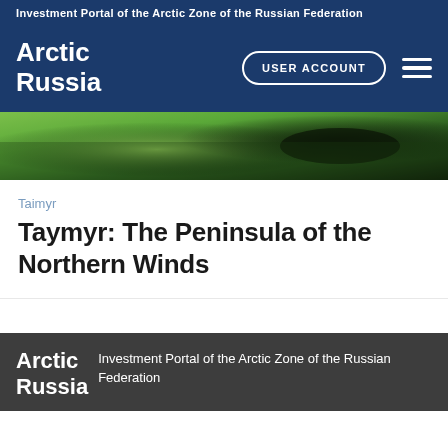Investment Portal of the Arctic Zone of the Russian Federation
[Figure (logo): Arctic Russia logo - white bold text on dark blue background]
[Figure (photo): Aerial view of dense green forest with a dark river or lake visible, Arctic landscape]
Taimyr
Taymyr: The Peninsula of the Northern Winds
Arctic Russia - Investment Portal of the Arctic Zone of the Russian Federation